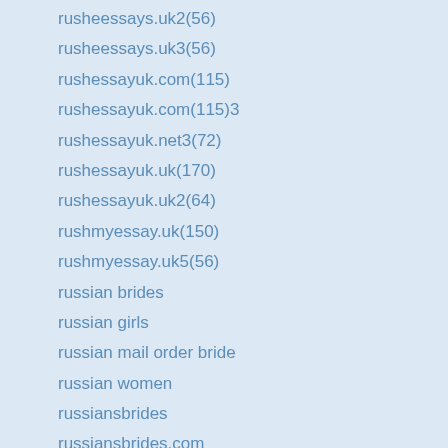rusheessays.uk2(56)
rusheessays.uk3(56)
rushessayuk.com(115)
rushessayuk.com(115)3
rushessayuk.net3(72)
rushessayuk.uk(170)
rushessayuk.uk2(64)
rushmyessay.uk(150)
rushmyessay.uk5(56)
russian brides
russian girls
russian mail order bride
russian women
russiansbrides
russiansbrides.com
score
SDau(1-600)
Sexy Brides Online